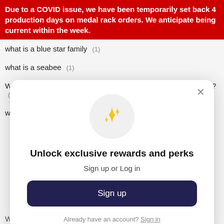Due to a COVID issue, we have been temporarily set back 4 production days on medal rack orders. We anticipate being current within the week.
what is a blue star family (1)
what is a seabee (1)
What Is Ripstop Fabric & Why Is It Important For Tactical Gear? (1)
what is the army reserve (1)
[Figure (screenshot): Modal dialog with sparkle emoji icon, title 'Unlock exclusive rewards and perks', subtitle 'Sign up or Log in', a dark navy Sign up button, and 'Already have an account? Sign in' link.]
World War II (2)